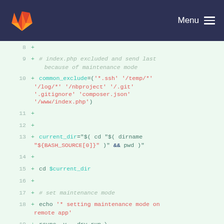[Figure (screenshot): GitLab navigation bar with fox logo and Menu button on dark navy background]
Code diff viewer showing lines 8-21 of a shell script with additions marked by + signs. Lines include: common_exclude function with SSH, temp, log, nbproject, git, gitignore, composer.json, www/index.php paths; current_dir variable using dirname and BASH_SOURCE; cd $current_dir; comment # set maintenance mode; echo command; rsync -v --dry-run; and $server:$remote_dir/www/index.php temp/ path.